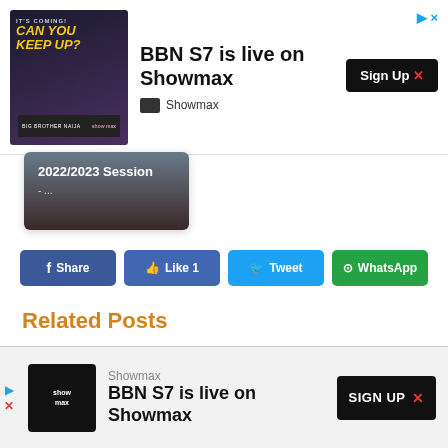[Figure (screenshot): Top advertisement banner for Showmax BBN S7 with image, title 'BBN S7 is live on Showmax', Sign Up button, and close icons]
[Figure (screenshot): Session card showing '2022/2023 Session' text on dark background]
[Figure (screenshot): Social share buttons: Share (Facebook), Like 1 (Facebook), Tweet (Twitter), WhatsApp]
Related Posts
[Figure (photo): Photo of a building with poles and green flag against blue sky]
[Figure (screenshot): Bottom advertisement banner for Showmax: 'BBN S7 is live on Showmax' with SIGN UP button]